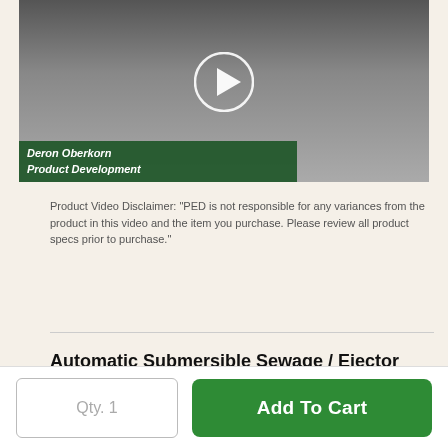[Figure (screenshot): Video thumbnail showing a man in a white shirt with a play button overlay and a green name bar at the bottom reading 'Deron Oberkorn / Product Development']
Product Video Disclaimer: "PED is not responsible for any variances from the product in this video and the item you purchase. Please review all product specs prior to purchase."
Automatic Submersible Sewage / Ejector Pump
Ideal for average to above average sewage
Qty. 1
Add To Cart